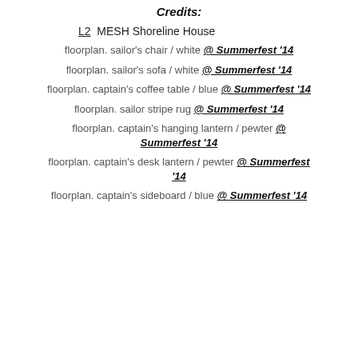Credits:
L2  MESH Shoreline House
floorplan. sailor's chair / white @ Summerfest '14
floorplan. sailor's sofa / white @ Summerfest '14
floorplan. captain's coffee table / blue @ Summerfest '14
floorplan. sailor stripe rug @ Summerfest '14
floorplan. captain's hanging lantern / pewter @ Summerfest '14
floorplan. captain's desk lantern / pewter @ Summerfest '14
floorplan. captain's sideboard / blue @ Summerfest '14